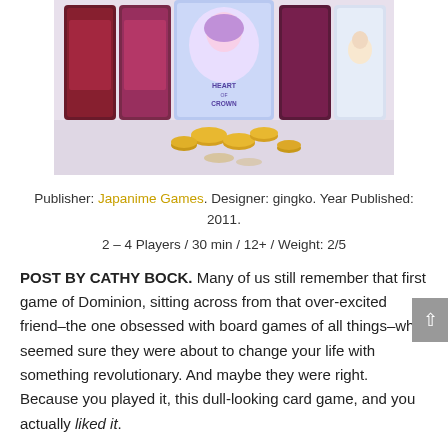[Figure (photo): Photo of a board game (Heart of Crown or similar anime-themed card game) showing cards arranged on a table with gold coins/tokens scattered around]
Publisher: Japanime Games. Designer: gingko. Year Published: 2011.
2 – 4 Players / 30 min / 12+ / Weight: 2/5
POST BY CATHY BOCK. Many of us still remember that first game of Dominion, sitting across from that over-excited friend–the one obsessed with board games of all things–who seemed sure they were about to change your life with something revolutionary. And maybe they were right. Because you played it, this dull-looking card game, and you actually liked it.